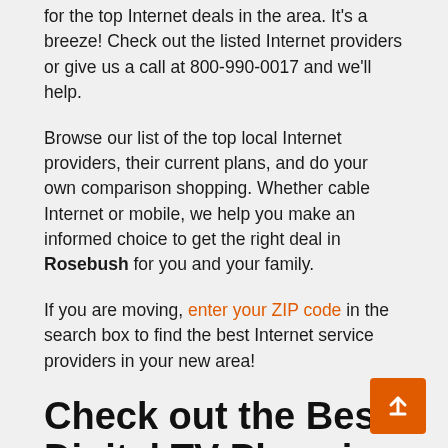for the top Internet deals in the area. It's a breeze! Check out the listed Internet providers or give us a call at 800-990-0017 and we'll help.
Browse our list of the top local Internet providers, their current plans, and do your own comparison shopping. Whether cable Internet or mobile, we help you make an informed choice to get the right deal in Rosebush for you and your family.
If you are moving, enter your ZIP code in the search box to find the best Internet service providers in your new area!
Check out the Best Digital TV Plans in the Area
At Bandwidth Place, we help you with more than your Internet service. Find the best Digital TV service in